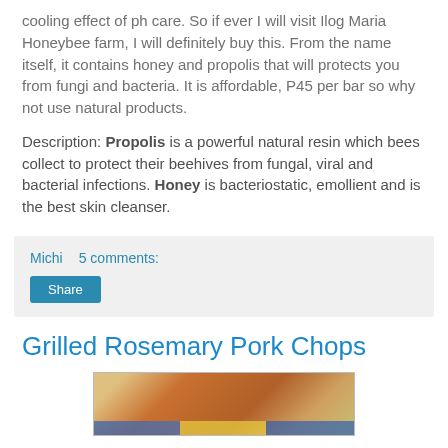cooling effect of ph care. So if ever I will visit Ilog Maria Honeybee farm, I will definitely buy this. From the name itself, it contains honey and propolis that will protects you from fungi and bacteria. It is affordable, P45 per bar so why not use natural products.
Description: Propolis is a powerful natural resin which bees collect to protect their beehives from fungal, viral and bacterial infections. Honey is bacteriostatic, emollient and is the best skin cleanser.
Michi   5 comments:
Share
Grilled Rosemary Pork Chops
[Figure (photo): Photo of grilled rosemary pork chops on a plate]